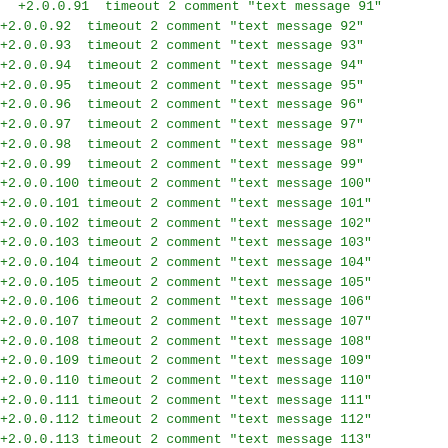+2.0.0.91 timeout 2 comment "text message 91"
+2.0.0.92 timeout 2 comment "text message 92"
+2.0.0.93 timeout 2 comment "text message 93"
+2.0.0.94 timeout 2 comment "text message 94"
+2.0.0.95 timeout 2 comment "text message 95"
+2.0.0.96 timeout 2 comment "text message 96"
+2.0.0.97 timeout 2 comment "text message 97"
+2.0.0.98 timeout 2 comment "text message 98"
+2.0.0.99 timeout 2 comment "text message 99"
+2.0.0.100 timeout 2 comment "text message 100"
+2.0.0.101 timeout 2 comment "text message 101"
+2.0.0.102 timeout 2 comment "text message 102"
+2.0.0.103 timeout 2 comment "text message 103"
+2.0.0.104 timeout 2 comment "text message 104"
+2.0.0.105 timeout 2 comment "text message 105"
+2.0.0.106 timeout 2 comment "text message 106"
+2.0.0.107 timeout 2 comment "text message 107"
+2.0.0.108 timeout 2 comment "text message 108"
+2.0.0.109 timeout 2 comment "text message 109"
+2.0.0.110 timeout 2 comment "text message 110"
+2.0.0.111 timeout 2 comment "text message 111"
+2.0.0.112 timeout 2 comment "text message 112"
+2.0.0.113 timeout 2 comment "text message 113"
+2.0.0.114 timeout 2 comment "text message 114"
+2.0.0.115 timeout 2 comment "text message 115"
+2.0.0.116 timeout 2 comment "text message 116"
+2.0.0.117 timeout 2 comment "text message 117"
+2.0.0.118 timeout 2 comment "text message 118"
+2.0.0.119 timeout 2 comment "text message 119"
+2.0.0.120 timeout 2 comment "text message 120"
+2.0.0.121 timeout 2 comment "text message 121"